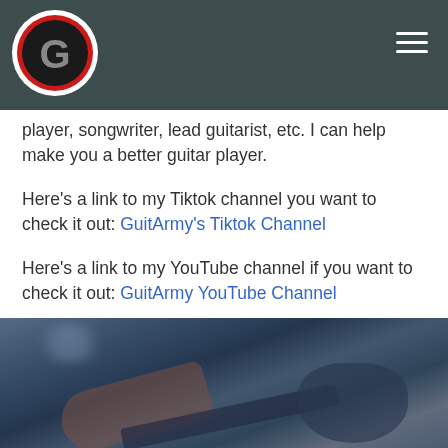GuitArmy logo and navigation
player, songwriter, lead guitarist, etc. I can help make you a better guitar player.
Here's a link to my Tiktok channel you want to check it out: GuitArmy's Tiktok Channel
Here's a link to my YouTube channel if you want to check it out: GuitArmy YouTube Channel
[Figure (photo): A blurred photo of a guitarist performing, showing an arm holding a guitar with amplifiers in the background, dark blue tone.]